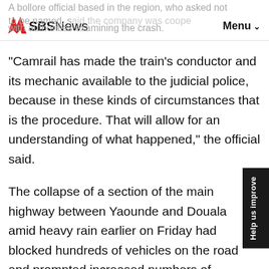SBS News — Menu
A Bollore official based in the region, who asked not to be named, said the company was cooperating with authorities examining the crash.
"Camrail has made the train's conductor and its mechanic available to the judicial police, because in these kinds of circumstances that is the procedure. That will allow for an understanding of what happened," the official said.
The collapse of a section of the main highway between Yaounde and Douala amid heavy rain earlier on Friday had blocked hundreds of vehicles on the road and prompted increased numbers of passengers to make the journey by rail.
The two incidents on the same day cut the main